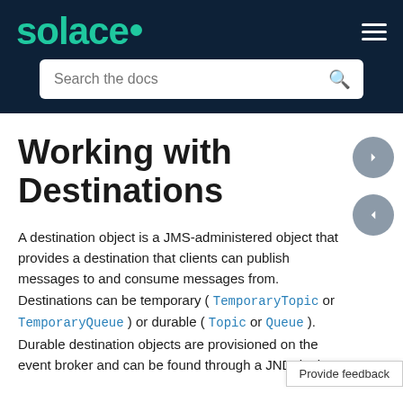solace.
Working with Destinations
A destination object is a JMS-administered object that provides a destination that clients can publish messages to and consume messages from. Destinations can be temporary ( TemporaryTopic or TemporaryQueue ) or durable ( Topic or Queue ). Durable destination objects are provisioned on the event broker and can be found through a JNDI lookup.